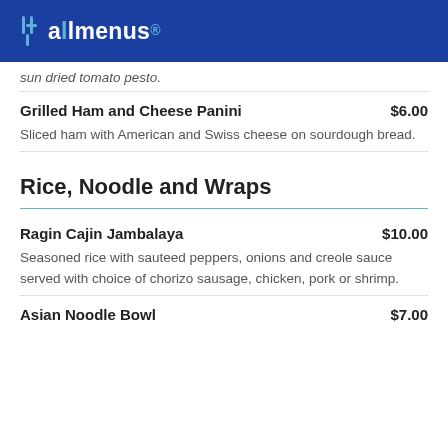allmenus
sun dried tomato pesto.
Grilled Ham and Cheese Panini $6.00 — Sliced ham with American and Swiss cheese on sourdough bread.
Rice, Noodle and Wraps
Ragin Cajin Jambalaya $10.00 — Seasoned rice with sauteed peppers, onions and creole sauce served with choice of chorizo sausage, chicken, pork or shrimp.
Asian Noodle Bowl $7.00